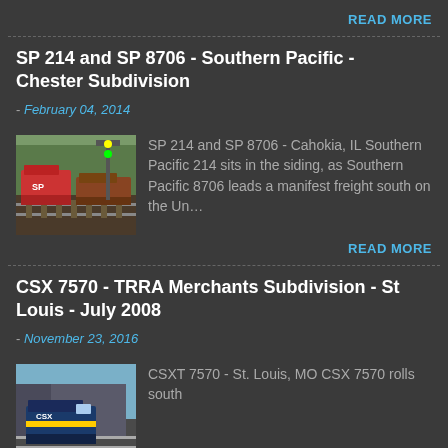READ MORE
SP 214 and SP 8706 - Southern Pacific - Chester Subdivision
- February 04, 2014
[Figure (photo): Thumbnail photo of SP 214 and SP 8706 locomotives at Cahokia, IL, Southern Pacific trains in siding]
SP 214 and SP 8706 - Cahokia, IL Southern Pacific 214 sits in the siding, as Southern Pacific 8706 leads a manifest freight south on the Un...
READ MORE
CSX 7570 - TRRA Merchants Subdivision - St Louis - July 2008
- November 23, 2016
[Figure (photo): Thumbnail photo of CSXT 7570 at St. Louis, MO]
CSXT 7570 - St. Louis, MO CSX 7570 rolls south